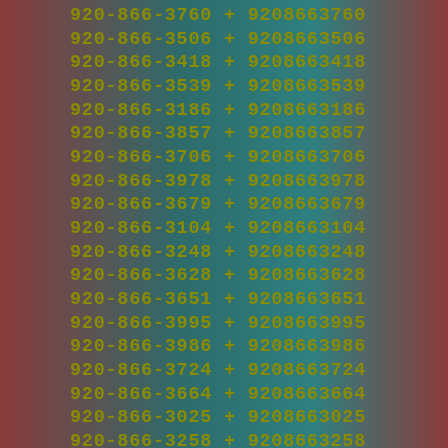920-866-3760 + 9208663760
920-866-3506 + 9208663506
920-866-3418 + 9208663418
920-866-3539 + 9208663539
920-866-3186 + 9208663186
920-866-3857 + 9208663857
920-866-3706 + 9208663706
920-866-3978 + 9208663978
920-866-3679 + 9208663679
920-866-3104 + 9208663104
920-866-3248 + 9208663248
920-866-3628 + 9208663628
920-866-3651 + 9208663651
920-866-3995 + 9208663995
920-866-3986 + 9208663986
920-866-3724 + 9208663724
920-866-3664 + 9208663664
920-866-3025 + 9208663025
920-866-3258 + 9208663258
920-866-3226 + 9208663226
920-866-3702 + 9208663702
920-866-3303 + 9208663303
920-866-3076 + 9208663076